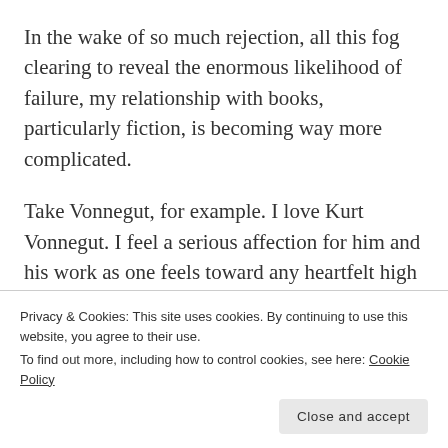In the wake of so much rejection, all this fog clearing to reveal the enormous likelihood of failure, my relationship with books, particularly fiction, is becoming way more complicated.
Take Vonnegut, for example. I love Kurt Vonnegut. I feel a serious affection for him and his work as one feels toward any heartfelt high school mentor. But then I'll read one of the several collections of his awful, early, pot-boiling short stories that've been collected and published in the wake of his death and I get irrationally angry, livid that the publisher used
Privacy & Cookies: This site uses cookies. By continuing to use this website, you agree to their use. To find out more, including how to control cookies, see here: Cookie Policy
Close and accept